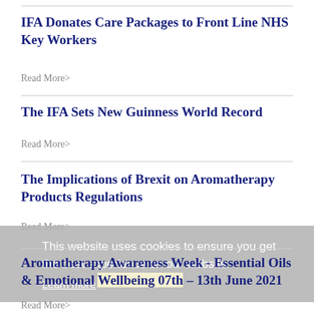IFA Donates Care Packages to Front Line NHS Key Workers
Read More>
The IFA Sets New Guinness World Record
Read More>
The Implications of Brexit on Aromatherapy Products Regulations
Read More>
This website uses cookies to ensure you get the best experience on our website. Learn more
Aromatherapy Awareness Week - Essential Oils & Emotional Wellbeing 07th – 13th June 2021
Read More>